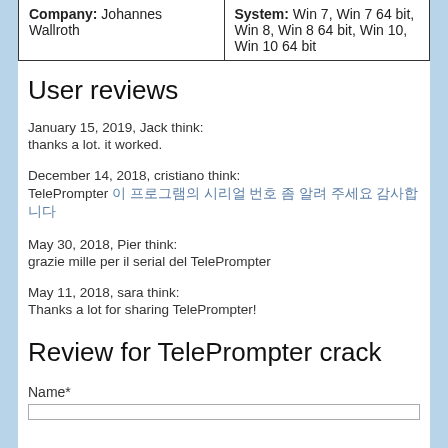| Company: Johannes Wallroth | System: Win 7, Win 7 64 bit, Win 8, Win 8 64 bit, Win 10, Win 10 64 bit |
User reviews
January 15, 2019, Jack think:
thanks a lot. it worked.
December 14, 2018, cristiano think:
TelePrompter [non-latin text]
May 30, 2018, Pier think:
grazie mille per il serial del TelePrompter
May 11, 2018, sara think:
Thanks a lot for sharing TelePrompter!
Review for TelePrompter crack
Name*